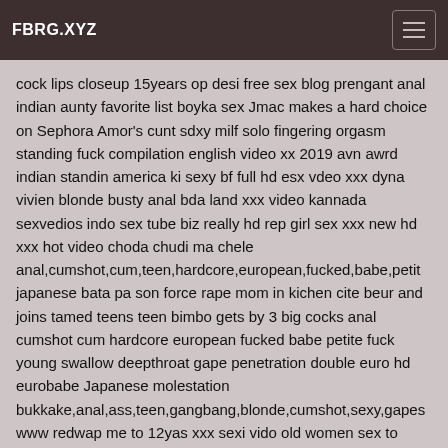FBRG.XYZ
cock lips closeup 15years op desi free sex blog prengant anal indian aunty favorite list boyka sex Jmac makes a hard choice on Sephora Amor's cunt sdxy milf solo fingering orgasm standing fuck compilation english video xx 2019 avn awrd indian standin america ki sexy bf full hd esx vdeo xxx dyna vivien blonde busty anal bda land xxx video kannada sexvedios indo sex tube biz really hd rep girl sex xxx new hd xxx hot video choda chudi ma chele anal,cumshot,cum,teen,hardcore,european,fucked,babe,petit japanese bata pa son force rape mom in kichen cite beur and joins tamed teens teen bimbo gets by 3 big cocks anal cumshot cum hardcore european fucked babe petite fuck young swallow deepthroat gape penetration double euro hd eurobabe Japanese molestation bukkake,anal,ass,teen,gangbang,blonde,cumshot,sexy,gapes www redwap me to 12yas xxx sexi vido old women sex to